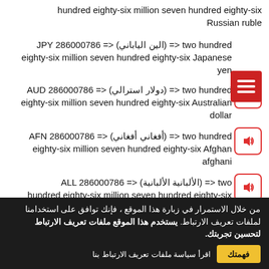hundred eighty-six million seven hundred eighty-six Russian ruble
286000786 JPY <= (الين الياباني) <= two hundred eighty-six million seven hundred eighty-six Japanese yen
286000786 AUD <= (دولار استرالي) <= two hundred eighty-six million seven hundred eighty-six Australian dollar
286000786 AFN <= (أفغاني أفغاني) <= two hundred eighty-six million seven hundred eighty-six Afghan afghani
286000786 ALL <= (الألبانية الألبانية) <= two hundred eighty-six million seven hundred eighty-six Albanian lek
من خلال الاستمرار في زبارة هذا الموقع ، فإنك توافق على استخدامنا لملفات تعريف الارتباط. يستخدم هذا الموقع ملفات تعريف الارتباط لتحسين تجربتك.
اقرأ سياسة ملفات تعريف الارتباط بنا
فهمتك